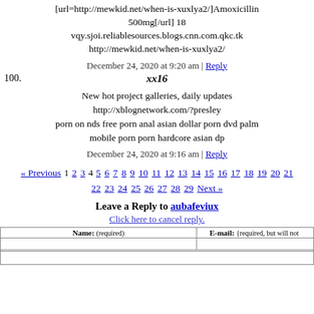[url=http://mewkid.net/when-is-xuxlya2/]Amoxicillin 500mg[/url] 18 vqy.sjoi.reliablesources.blogs.cnn.com.qkc.tk http://mewkid.net/when-is-xuxlya2/
December 24, 2020 at 9:20 am | Reply
100. xx16
New hot project galleries, daily updates http://xblognetwork.com/?presley porn on nds free porn anal asian dollar porn dvd palm mobile porn porn hardcore asian dp
December 24, 2020 at 9:16 am | Reply
« Previous 1 2 3 4 5 6 7 8 9 10 11 12 13 14 15 16 17 18 19 20 21 22 23 24 25 26 27 28 29 Next »
Leave a Reply to aubafeviux
Click here to cancel reply.
| Name: (required) | E-mail: (required, but will not be published) |
| --- | --- |
|  |  |
|  |  |